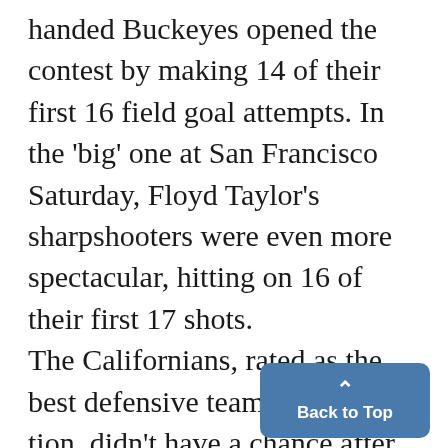handed Buckeyes opened the contest by making 14 of their first 16 field goal attempts. In the 'big' one at San Francisco Saturday, Floyd Taylor's sharpshooters were even more spectacular, hitting on 16 of their first 17 shots. The Californians, rated as the best defensive team in the nation. didn't have a chance after Ohio State's initial onslaught and trailed at the half 37-19. Perigo, who watched the contest on TV, said, "I think an im-